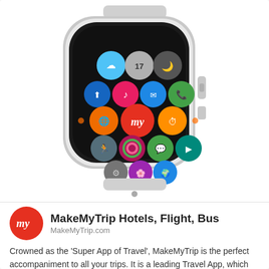[Figure (photo): Apple Watch displaying MakeMyTrip app icon among other app icons on the watch face, shown on a white background]
MakeMyTrip Hotels, Flight, Bus
MakeMyTrip.com
Crowned as the 'Super App of Travel', MakeMyTrip is the perfect accompaniment to all your trips. It is a leading Travel App, which caters to the needs of every discerning traveller